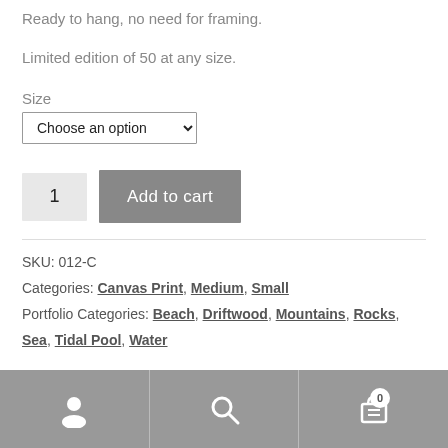Ready to hang, no need for framing.
Limited edition of 50 at any size.
Size
Choose an option (dropdown)
1 (quantity input) | Add to cart (button)
SKU: 012-C
Categories: Canvas Print, Medium, Small
Portfolio Categories: Beach, Driftwood, Mountains, Rocks, Sea, Tidal Pool, Water
User icon | Search icon | Cart icon (0)